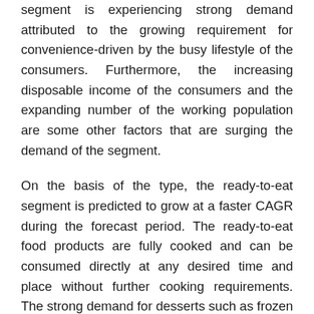segment is experiencing strong demand attributed to the growing requirement for convenience-driven by the busy lifestyle of the consumers. Furthermore, the increasing disposable income of the consumers and the expanding number of the working population are some other factors that are surging the demand of the segment.
On the basis of the type, the ready-to-eat segment is predicted to grow at a faster CAGR during the forecast period. The ready-to-eat food products are fully cooked and can be consumed directly at any desired time and place without further cooking requirements. The strong demand for desserts such as frozen ice creams and frozen yogurt is the major factor that is propelling the segment's demand. The consumers are becoming more health-conscious, which is promoting them to